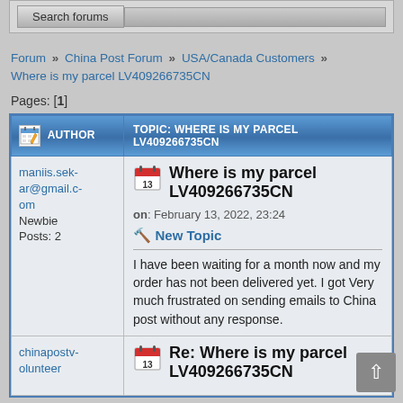[Figure (screenshot): Search forums button in a grey box at the top of the page]
Forum » China Post Forum » USA/Canada Customers » Where is my parcel LV409266735CN
Pages: [1]
| AUTHOR | TOPIC: WHERE IS MY PARCEL LV409266735CN |
| --- | --- |
| maniis.sekar@gmail.com
Newbie
Posts: 2 | Where is my parcel LV409266735CN
on: February 13, 2022, 23:24
🔨 New Topic
I have been waiting for a month now and my order has not been delivered yet. I got Very much frustrated on sending emails to China post without any response. |
| chinapostvolunteer
Administrator | Re: Where is my parcel LV409266735CN |